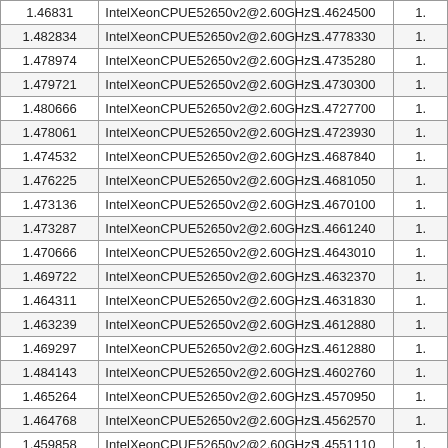| 1.46831 | IntelXeonCPUE52650v2@2.60GHzS | 1.4624500 | 1. |
| 1.482834 | IntelXeonCPUE52650v2@2.60GHzS | 1.4778330 | 1. |
| 1.478974 | IntelXeonCPUE52650v2@2.60GHzS | 1.4735280 | 1. |
| 1.479721 | IntelXeonCPUE52650v2@2.60GHzS | 1.4730300 | 1. |
| 1.480666 | IntelXeonCPUE52650v2@2.60GHzS | 1.4727700 | 1. |
| 1.478061 | IntelXeonCPUE52650v2@2.60GHzS | 1.4723930 | 1. |
| 1.474532 | IntelXeonCPUE52650v2@2.60GHzS | 1.4687840 | 1. |
| 1.476225 | IntelXeonCPUE52650v2@2.60GHzS | 1.4681050 | 1. |
| 1.473136 | IntelXeonCPUE52650v2@2.60GHzS | 1.4670100 | 1. |
| 1.473287 | IntelXeonCPUE52650v2@2.60GHzS | 1.4661240 | 1. |
| 1.470666 | IntelXeonCPUE52650v2@2.60GHzS | 1.4643010 | 1. |
| 1.469722 | IntelXeonCPUE52650v2@2.60GHzS | 1.4632370 | 1. |
| 1.464311 | IntelXeonCPUE52650v2@2.60GHzS | 1.4631830 | 1. |
| 1.463239 | IntelXeonCPUE52650v2@2.60GHzS | 1.4612880 | 1. |
| 1.469297 | IntelXeonCPUE52650v2@2.60GHzS | 1.4612880 | 1. |
| 1.484143 | IntelXeonCPUE52650v2@2.60GHzS | 1.4602760 | 1. |
| 1.465264 | IntelXeonCPUE52650v2@2.60GHzS | 1.4570950 | 1. |
| 1.464768 | IntelXeonCPUE52650v2@2.60GHzS | 1.4562570 | 1. |
| 1.459858 | IntelXeonCPUE52650v2@2.60GHzS | 1.4551110 | 1. |
| 1.46022 | IntelXeonCPUE52650v2@2.60GHzS | 1.4541430 | 1. |
| 1.460664 | IntelXeonCPUE52650v2@2.60GHzS | 1.4539350 | 1. |
| 1.477733 | IntelXeonCPUE52650v2@2.60GHzS | 1.4530470 | 1. |
| 1.459229 | IntelXeonCPUE52650v2@2.60GHzS | 1.4514900 | 1. |
| 1.456752 | IntelXeonCPUE52650v2@2.60GHzS | 1.4503480 | 1. |